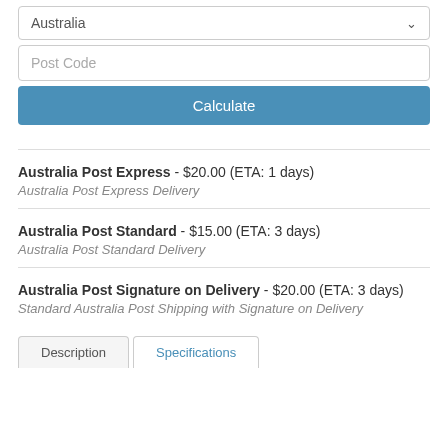Australia
Post Code
Calculate
Australia Post Express - $20.00 (ETA: 1 days)
Australia Post Express Delivery
Australia Post Standard - $15.00 (ETA: 3 days)
Australia Post Standard Delivery
Australia Post Signature on Delivery - $20.00 (ETA: 3 days)
Standard Australia Post Shipping with Signature on Delivery
Description
Specifications